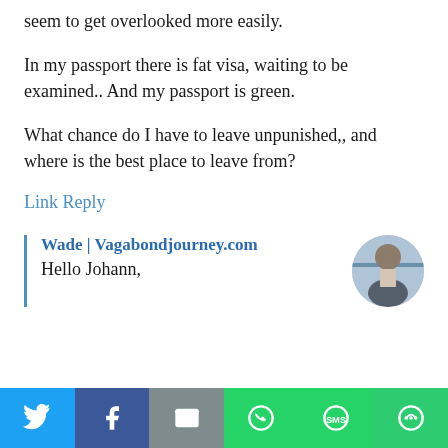seem to get overlooked more easily.
In my passport there is fat visa, waiting to be examined.. And my passport is green.
What chance do I have to leave unpunished,, and where is the best place to leave from?
Link Reply
Wade | Vagabondjourney.com
Hello Johann,